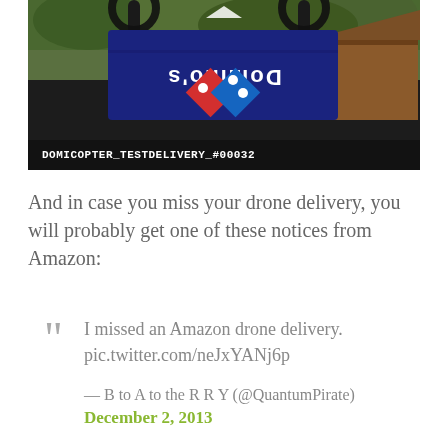[Figure (screenshot): Video thumbnail of a Dominos pizza delivery drone (Domicopter) with the Dominos logo visible on a delivery bag, text overlay reads DOMICOPTER_TESTDELIVERY_#00032, play button visible at top]
And in case you miss your drone delivery, you will probably get one of these notices from Amazon:
I missed an Amazon drone delivery. pic.twitter.com/neJxYANj6p
— B to A to the R R Y (@QuantumPirate)
December 2, 2013